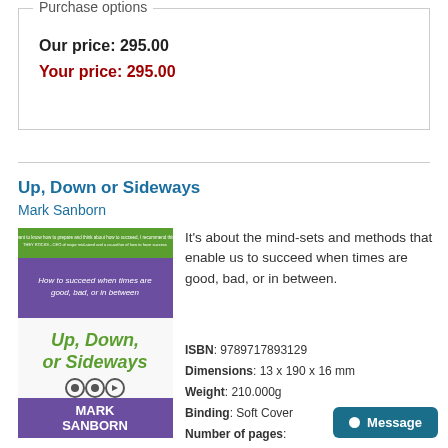Purchase options
Our price: 295.00
Your price: 295.00
Up, Down or Sideways
Mark Sanborn
[Figure (illustration): Book cover for 'Up, Down, or Sideways' by Mark Sanborn. Top green band with quote text, purple middle section with subtitle 'How to succeed when times are good, bad, or in between', green text 'Up, Down, or Sideways', three circular icons, and purple bottom with 'MARK SANBORN' in white bold text.]
It's about the mind-sets and methods that enable us to succeed when times are good, bad, or in between.
ISBN: 9789717893129
Dimensions: 13 x 190 x 16 mm
Weight: 210.000g
Binding: Soft Cover
Number of pages: